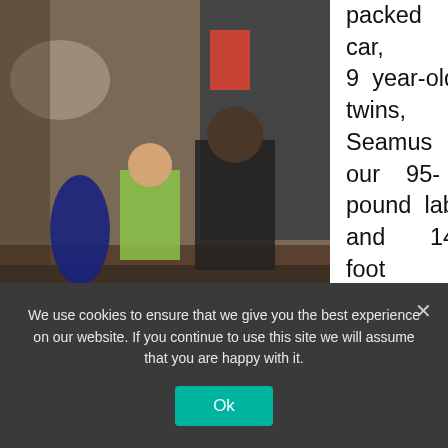[Figure (photo): Photo of children sitting in the open trunk/tailgate of a vehicle, with bare feet visible and a car seat in the background.]
A much needed rest stop on our journey from San Pancho to San Miguel de Allende
packed car, 9 year-old twins, Seamus our 95-pound lab, and 14-foot aluminum fishing boat in tow, filled to the rim
We use cookies to ensure that we give you the best experience on our website. If you continue to use this site we will assume that you are happy with it.